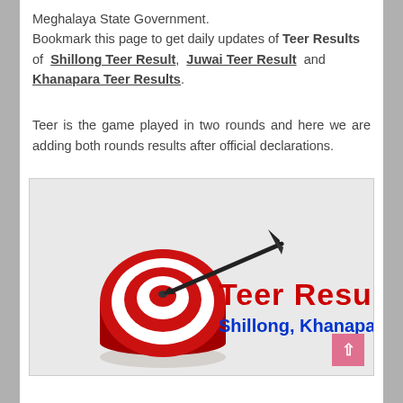Meghalaya State Government. Bookmark this page to get daily updates of Teer Results of Shillong Teer Result, Juwai Teer Result and Khanapara Teer Results.
Teer is the game played in two rounds and here we are adding both rounds results after official declarations.
[Figure (illustration): Illustration of a red and white bullseye target with a black arrow hitting the center, and text 'Teer Results' in bold red and 'Shillong, Khanapara, Juwai' in blue below it on a light grey background.]